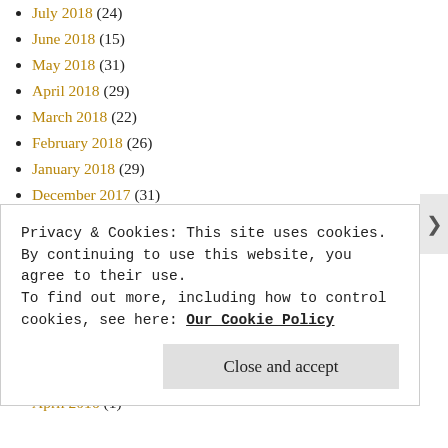July 2018 (24)
June 2018 (15)
May 2018 (31)
April 2018 (29)
March 2018 (22)
February 2018 (26)
January 2018 (29)
December 2017 (31)
November 2017 (32)
October 2017 (36)
September 2017 (8)
August 2017 (1)
April 2017 (1)
January 2017 (1)
June 2016 (1)
April 2016 (1)
Privacy & Cookies: This site uses cookies. By continuing to use this website, you agree to their use. To find out more, including how to control cookies, see here: Our Cookie Policy